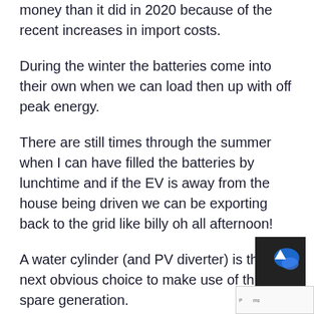money than it did in 2020 because of the recent increases in import costs.
During the winter the batteries come into their own when we can load then up with off peak energy.
There are still times through the summer when I can have filled the batteries by lunchtime and if the EV is away from the house being driven we can be exporting back to the grid like billy oh all afternoon!
A water cylinder (and PV diverter) is the next obvious choice to make use of this spare generation.
So we still have some electrification to do in the over the next few years too: